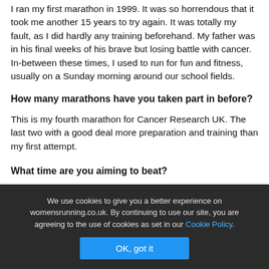I ran my first marathon in 1999. It was so horrendous that it took me another 15 years to try again. It was totally my fault, as I did hardly any training beforehand. My father was in his final weeks of his brave but losing battle with cancer. In-between these times, I used to run for fun and fitness, usually on a Sunday morning around our school fields.
How many marathons have you taken part in before?
This is my fourth marathon for Cancer Research UK. The last two with a good deal more preparation and training than my first attempt.
What time are you aiming to beat?
We use cookies to give you a better experience on womensrunning.co.uk. By continuing to use our site, you are agreeing to the use of cookies as set in our Cookie Policy.